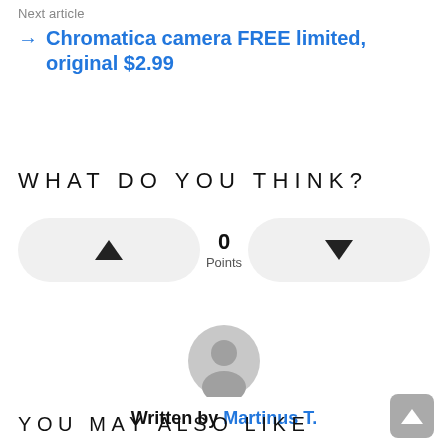Next article
→ Chromatica camera FREE limited, original $2.99
WHAT DO YOU THINK?
[Figure (other): Voting widget with upvote button (triangle up), 0 Points counter, and downvote button (triangle down)]
[Figure (other): Generic user avatar icon (grey circle with person silhouette)]
Written by Martinus T.
YOU MAY ALSO LIKE